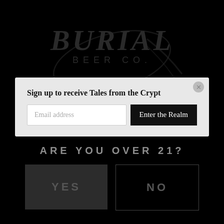[Figure (logo): Burial Beer Co. logo with stylized gothic lettering 'BURIAL' above 'BEER CO.' with a scythe/reaper decoration, displayed on black background]
Sign up to receive Tales from the Crypt
Email address
Enter the Realm
ARE YOU OVER 21?
YES
NO